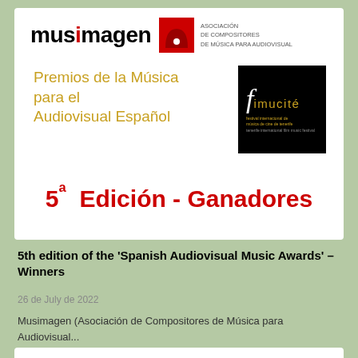[Figure (logo): Musimagen logo with red 'i', red arch icon, and text 'ASOCIACION DE COMPOSITORES DE MUSICA PARA AUDIOVISUAL']
Premios de la Música para el Audiovisual Español
[Figure (logo): Fimucité – festival internacional de música de cine de tenerife logo on black background]
5ª Edición - Ganadores
5th edition of the 'Spanish Audiovisual Music Awards' – Winners
26 de July de 2022
Musimagen (Asociación de Compositores de Música para Audiovisual...